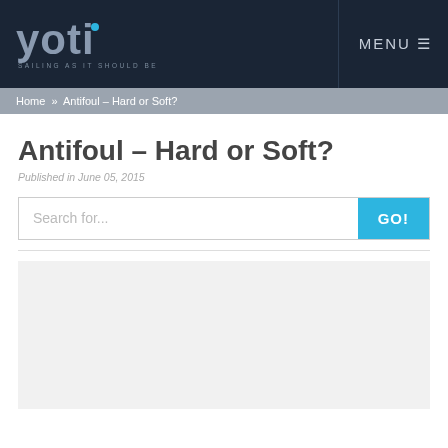yoti SAILING AS IT SHOULD BE | MENU
Home » Antifoul – Hard or Soft?
Antifoul – Hard or Soft?
Published in June 05, 2015
[Figure (screenshot): Search bar with placeholder text 'Search for...' and a blue 'GO!' button]
[Figure (photo): Light grey placeholder image area below the search bar]